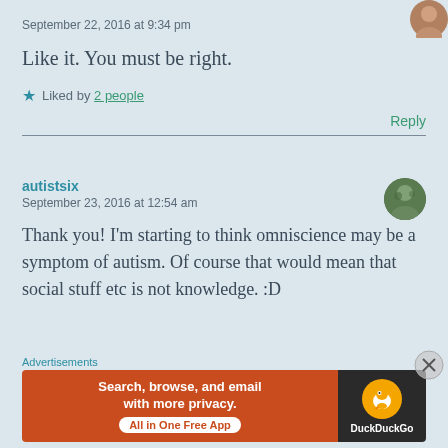September 22, 2016 at 9:34 pm
Like it. You must be right.
★ Liked by 2 people
Reply
autistsix
September 23, 2016 at 12:54 am
Thank you! I'm starting to think omniscience may be a symptom of autism. Of course that would mean that social stuff etc is not knowledge. :D
Advertisements
[Figure (screenshot): DuckDuckGo advertisement banner: orange section with text 'Search, browse, and email with more privacy. All in One Free App' and dark section with DuckDuckGo logo and brand name]